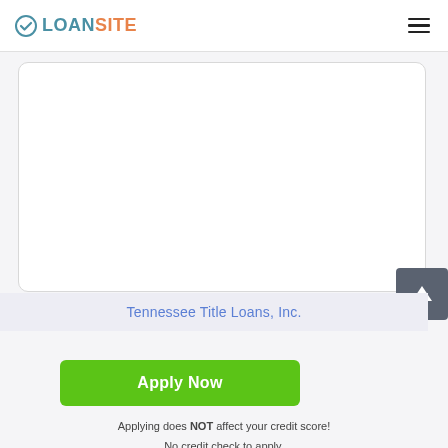LOANSITE
[Figure (other): White rounded rectangle card placeholder (empty image area)]
[Figure (other): Scroll-to-top button with upward arrow icon, dark grey background]
Tennessee Title Loans, Inc.
Apply Now
Applying does NOT affect your credit score!
No credit check to apply.